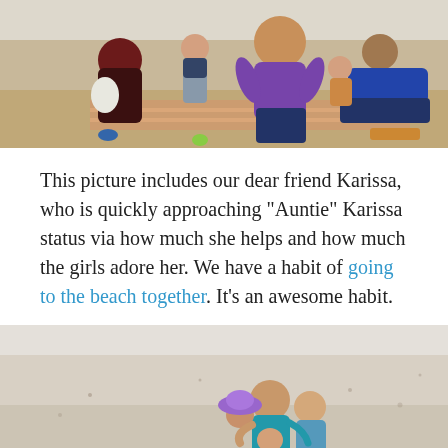[Figure (photo): A group of adults and children sitting on a beach on a sunny day; a woman in a purple shirt is prominent in the center, with others around her on a striped beach towel.]
This picture includes our dear friend Karissa, who is quickly approaching “Auntie” Karissa status via how much she helps and how much the girls adore her. We have a habit of going to the beach together. It’s an awesome habit.
[Figure (photo): Two adults and children huddled together on a sandy beach, smiling; one child is wearing a purple sun hat.]